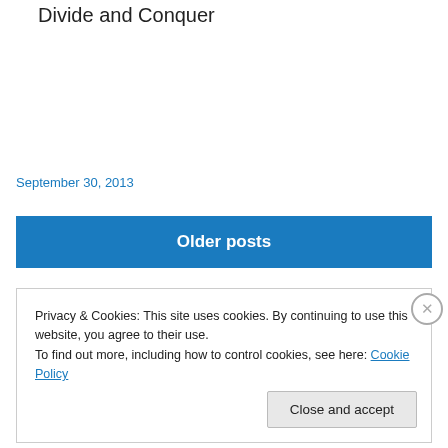Divide and Conquer
September 30, 2013
Older posts
Privacy & Cookies: This site uses cookies. By continuing to use this website, you agree to their use.
To find out more, including how to control cookies, see here: Cookie Policy
Close and accept